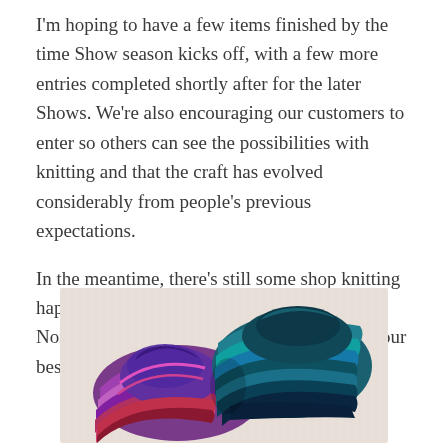I'm hoping to have a few items finished by the time Show season kicks off, with a few more entries completed shortly after for the later Shows. We're also encouraging our customers to enter so others can see the possibilities with knitting and that the craft has evolved considerably from people's previous expectations.

In the meantime, there's still some shop knitting happening. The past week it was focussing on Noro and Zauberball Spiral Beanies – one of our best sellers.
[Figure (photo): Photo of two colorful striped knitted spiral beanies placed on a light textured background. One beanie is in teal/dark blue tones on the right, and the other is in purple/magenta/red tones on the left, with both showing spiral stripe patterns.]